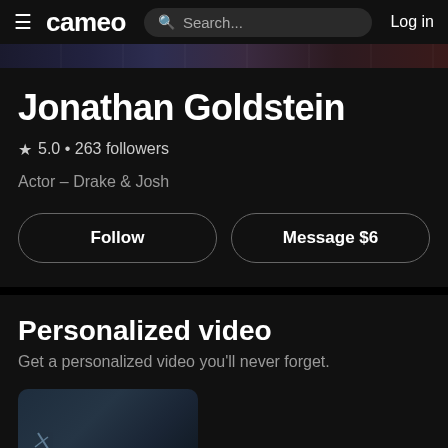cameo  Search...  Log in
[Figure (photo): Banner strip showing partial images behind the profile]
Jonathan Goldstein
★ 5.0 • 263 followers
Actor – Drake & Josh
Follow  Message $6
Personalized video
Get a personalized video you'll never forget.
[Figure (photo): Thumbnail of a personalized video, partially visible at bottom]